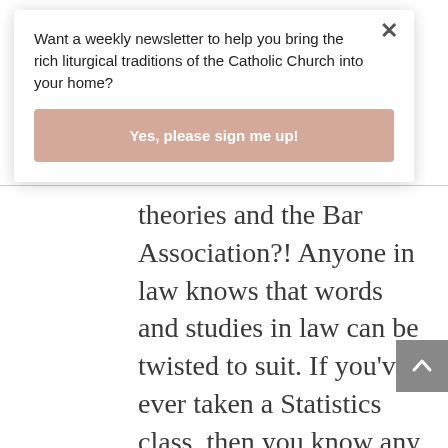Want a weekly newsletter to help you bring the rich liturgical traditions of the Catholic Church into your home?
Yes, please sign me up!
theories and the Bar Association?! Anyone in law knows that words and studies in law can be twisted to suit. If you've ever taken a Statistics class, then you know any study can be manipulated to the desired outcome and a couple of these are very liberal organizations. Let's be honest